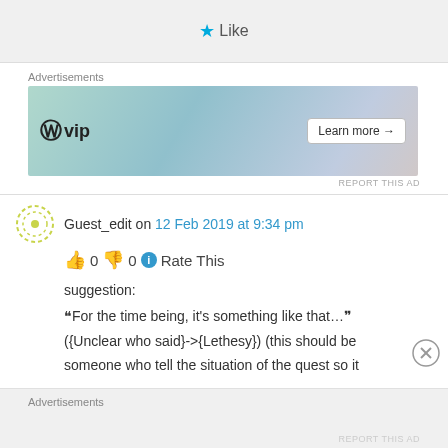[Figure (screenshot): Like button with blue star icon at top]
Advertisements
[Figure (screenshot): WordPress VIP advertisement banner with Learn more button]
REPORT THIS AD
Guest_edit on 12 Feb 2019 at 9:34 pm
👍 0 👎 0 ℹ Rate This
suggestion:
“For the time being, it's something like that…” ({Unclear who said}->{Lethesy}) (this should be someone who tell the situation of the quest so it
Advertisements
REPORT THIS AD